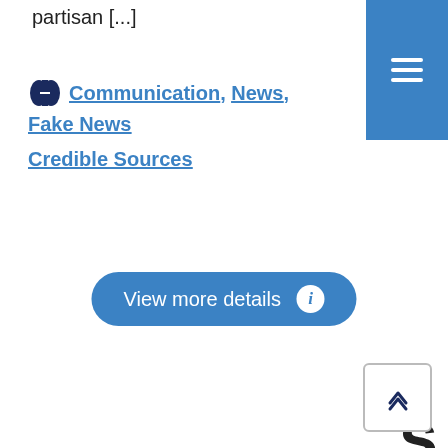partisan [...]
Communication, News, Fake News, Credible Sources
View more details
This website uses cookies to help us provide you a better experience. By clicking any link on this page you are giving your consent for us to set cookies. Learn more
Got it!